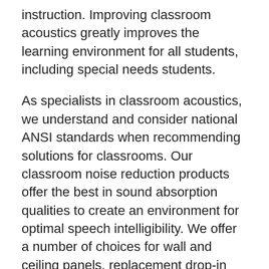instruction. Improving classroom acoustics greatly improves the learning environment for all students, including special needs students.
As specialists in classroom acoustics, we understand and consider national ANSI standards when recommending solutions for classrooms. Our classroom noise reduction products offer the best in sound absorption qualities to create an environment for optimal speech intelligibility. We offer a number of choices for wall and ceiling panels, replacement drop-in ceiling tiles as well as hanging baffles and clouds. All of our classroom soundproofing products meet fire rating standards for schools. Designed especially for students, the Quiet Light and Talk Light stoplight device are a fun way to signal when a classroom noise reaches an unacceptable level.
With over 35 years of experience working with school